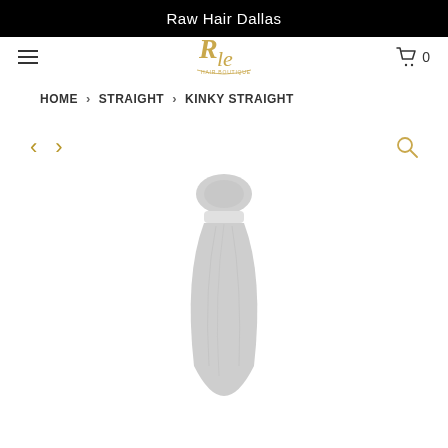Raw Hair Dallas
[Figure (logo): RHe Hair Boutique script logo in gold/yellow color]
HOME > STRAIGHT > KINKY STRAIGHT
[Figure (photo): A bundle of kinky straight hair extensions shown as a wefted hair bundle, light gray/white color against white background]